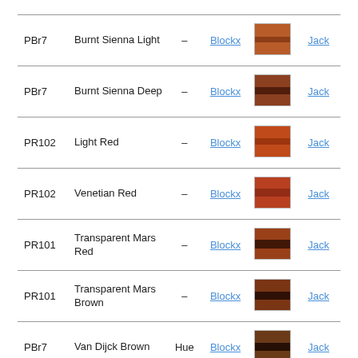| Pigment | Name | Hue | Brand | Swatch | Jack |
| --- | --- | --- | --- | --- | --- |
| PBr7 | Burnt Sienna Light | – | Blockx | [swatch] | Jack |
| PBr7 | Burnt Sienna Deep | – | Blockx | [swatch] | Jack |
| PR102 | Light Red | – | Blockx | [swatch] | Jack |
| PR102 | Venetian Red | – | Blockx | [swatch] | Jack |
| PR101 | Transparent Mars Red | – | Blockx | [swatch] | Jack |
| PR101 | Transparent Mars Brown | – | Blockx | [swatch] | Jack |
| PBr7 | Van Dijck Brown | Hue | Blockx | [swatch] | Jack |